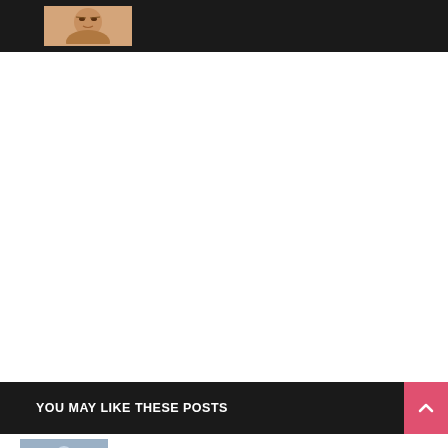[Figure (photo): Dark header bar with a small thumbnail image of a person's face (skin-toned illustration)]
[Figure (photo): Large white empty content area (advertisement or blank space)]
YOU MAY LIKE THESE POSTS
Controversial singer Portable bags Chieftaincy